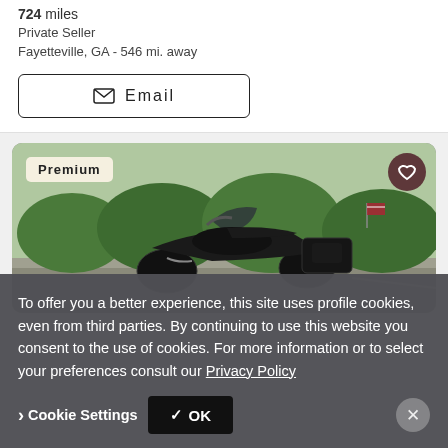724 miles
Private Seller
Fayetteville, GA - 546 mi. away
Email
[Figure (photo): Black Harley-Davidson touring motorcycle parked on a road with green grass and trees in the background. A Premium badge is shown in the top left corner and a heart/favorite button in the top right.]
To offer you a better experience, this site uses profile cookies, even from third parties. By continuing to use this website you consent to the use of cookies. For more information or to select your preferences consult our Privacy Policy
Cookie Settings
✓ OK